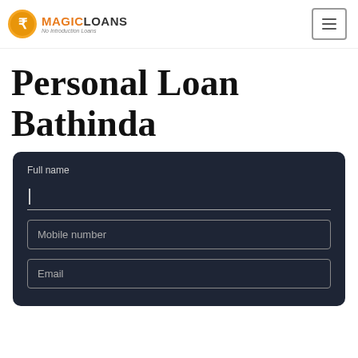MAGICLOANS
Personal Loan Bathinda
Full name
Mobile number
Email